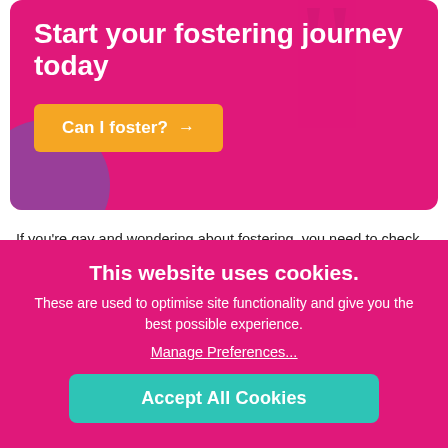Start your fostering journey today
Can I foster? →
If you're gay and wondering about fostering, you need to check out our post that explains all about fostering for gay people and couples. Just as it doesn't matter whether foster carers are single or part of a couple, gender or sexual orientation is not a factor for consideration either. We'll always consider whether candidates are capable of providing a stable and caring
This website uses cookies.
These are used to optimise site functionality and give you the best possible experience.
Manage Preferences...
Accept All Cookies